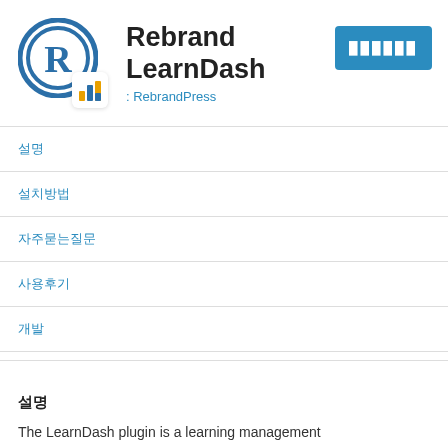Rebrand LearnDash
: RebrandPress
[Figure (logo): RebrandPress logo with circular R icon and bar chart badge]
설명
설치방법
자주묻는질문
사용후기
개발
설명
The LearnDash plugin is a learning management